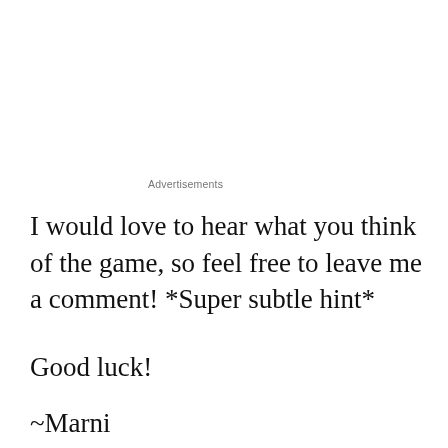Advertisements
I would love to hear what you think of the game, so feel free to leave me a comment! *Super subtle hint*
Good luck!
~Marni
Advertisements
[Figure (other): Dark/black advertisement banner rectangle]
Privacy & Cookies: This site uses cookies. By continuing to use this website, you agree to their use.
To find out more, including how to control cookies, see here: Cookie Policy
Close and accept